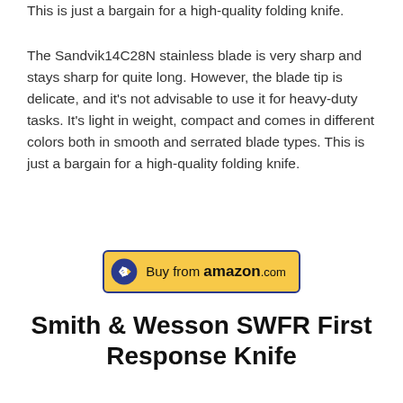This is just a bargain for a high-quality folding knife.
The Sandvik14C28N stainless blade is very sharp and stays sharp for quite long. However, the blade tip is delicate, and it's not advisable to use it for heavy-duty tasks. It's light in weight, compact and comes in different colors both in smooth and serrated blade types. This is just a bargain for a high-quality folding knife.
[Figure (other): Buy from amazon.com button with Amazon logo arrow and yellow background with dark blue border]
Smith & Wesson SWFR First Response Knife